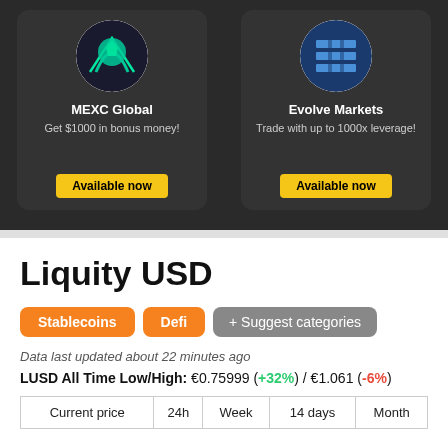[Figure (logo): MEXC Global logo - green mountain/triangle shape on white circle background]
MEXC Global
Get $1000 in bonus money!
Available now
[Figure (logo): Evolve Markets logo - blue grid/bar chart shape on white circle background]
Evolve Markets
Trade with up to 1000x leverage!
Available now
Liquity USD
Stablecoins
Defi
+ Suggest categories
Data last updated about 22 minutes ago
LUSD All Time Low/High: €0.75999 (+32%) / €1.061 (-6%)
| Current price | 24h | Week | 14 days | Month |
| --- | --- | --- | --- | --- |